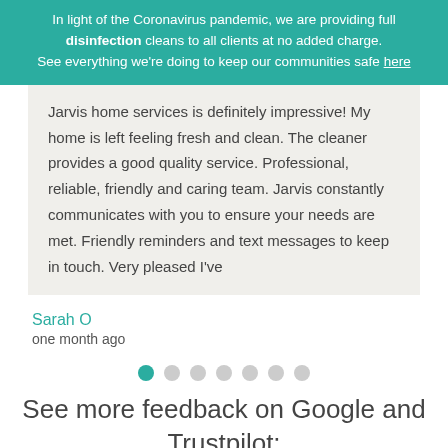In light of the Coronavirus pandemic, we are providing full disinfection cleans to all clients at no added charge. See everything we're doing to keep our communities safe here
Jarvis home services is definitely impressive! My home is left feeling fresh and clean. The cleaner provides a good quality service. Professional, reliable, friendly and caring team. Jarvis constantly communicates with you to ensure your needs are met. Friendly reminders and text messages to keep in touch. Very pleased I've
Sarah O
one month ago
[Figure (infographic): Pagination dots: first dot is teal/active, followed by 6 grey dots]
See more feedback on Google and Trustpilot:
[Figure (logo): Partial Google logo (blue G) and partial Trustpilot logo (green star and text) at the bottom]